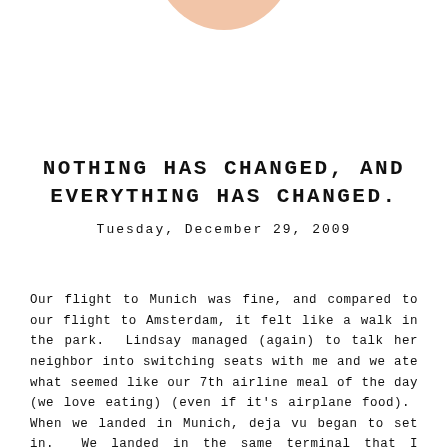[Figure (illustration): Partial view of a circular avatar/profile illustration with a peach/skin-tone color, cropped at the top of the page showing only the bottom portion of the circle.]
NOTHING HAS CHANGED, AND EVERYTHING HAS CHANGED.
Tuesday, December 29, 2009
Our flight to Munich was fine, and compared to our flight to Amsterdam, it felt like a walk in the park.  Lindsay managed (again) to talk her neighbor into switching seats with me and we ate what seemed like our 7th airline meal of the day (we love eating) (even if it's airplane food).  When we landed in Munich, deja vu began to set in.  We landed in the same terminal that I landed in earlier this year when I first moved to Salzburg, and as we waited to collect our bags from the very same carousel, I replayed the scene in my head: meeting Tim for the first time, meeting Ingrid, meeting Andreas...